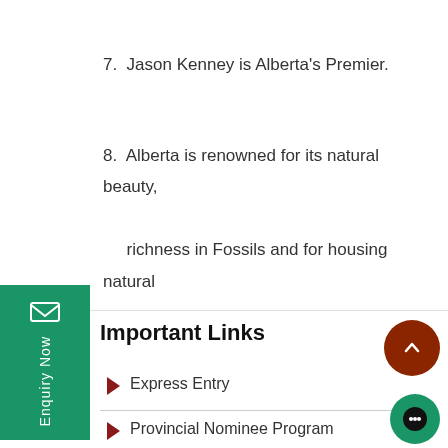7. Jason Kenney is Alberta's Premier.
8. Alberta is renowned for its natural beauty, richness in Fossils and for housing natural reserves.
Important Links
Express Entry
Provincial Nominee Program